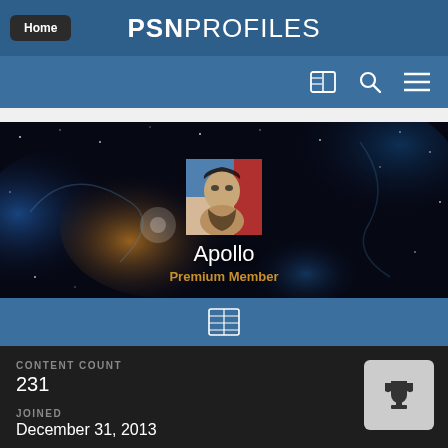PSNPROFILES
[Figure (screenshot): PSN Profiles user profile page for user Apollo, Premium Member, showing space-themed banner background with avatar portrait, content count 231, joined December 31 2013, last visited section visible]
Apollo
Premium Member
CONTENT COUNT
231
JOINED
December 31, 2013
LAST VISITED